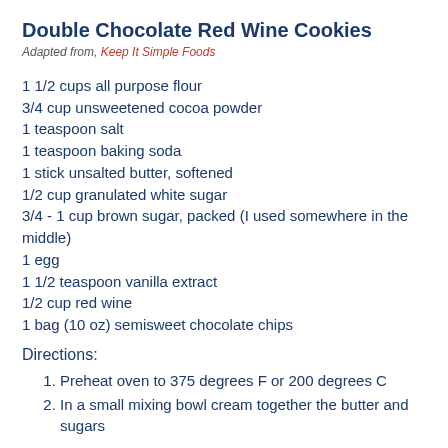Double Chocolate Red Wine Cookies
Adapted from, Keep It Simple Foods
1 1/2 cups all purpose flour
3/4 cup unsweetened cocoa powder
1 teaspoon salt
1 teaspoon baking soda
1 stick unsalted butter, softened
1/2 cup granulated white sugar
3/4 - 1 cup brown sugar, packed (I used somewhere in the middle)
1 egg
1 1/2 teaspoon vanilla extract
1/2 cup red wine
1 bag (10 oz) semisweet chocolate chips
Directions:
Preheat oven to 375 degrees F or 200 degrees C
In a small mixing bowl cream together the butter and sugars